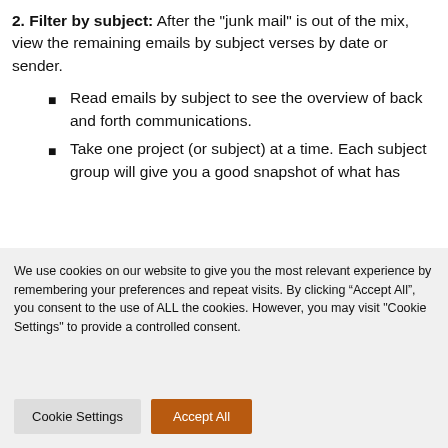2. Filter by subject: After the "junk mail" is out of the mix, view the remaining emails by subject verses by date or sender.
Read emails by subject to see the overview of back and forth communications.
Take one project (or subject) at a time. Each subject group will give you a good snapshot of what has
We use cookies on our website to give you the most relevant experience by remembering your preferences and repeat visits. By clicking “Accept All”, you consent to the use of ALL the cookies. However, you may visit "Cookie Settings" to provide a controlled consent.